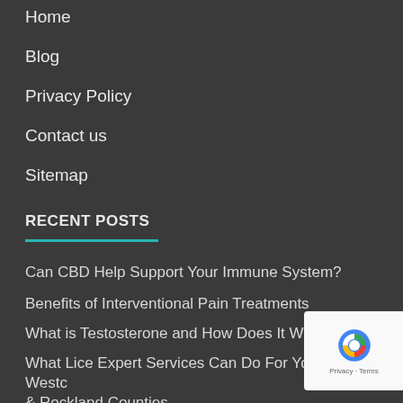Home
Blog
Privacy Policy
Contact us
Sitemap
RECENT POSTS
Can CBD Help Support Your Immune System?
Benefits of Interventional Pain Treatments
What is Testosterone and How Does It Work?
What Lice Expert Services Can Do For You In Westchester & Rockland Counties